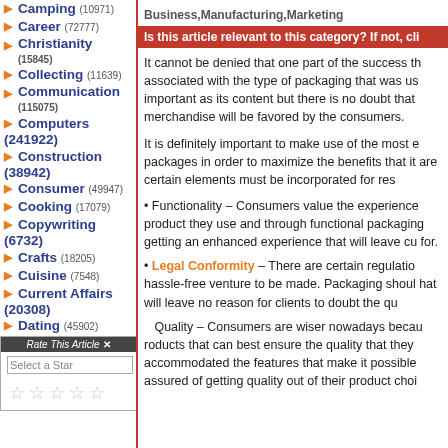Camping (10971)
Career (72777)
Christianity (15845)
Collecting (11639)
Communication (115075)
Computers (241922)
Construction (38942)
Consumer (49947)
Cooking (17079)
Copywriting (6732)
Crafts (18205)
Cuisine (7548)
Current Affairs (20308)
Dating (45902)
EBooks (19700)
E-Commerce (48248)
Education (185379)
Environment (28924)
Rate This Article ✕
Select a Star
Business, Manufacturing, Marketing
Is this article relevant to this category? If not, cli
It cannot be denied that one part of the success th associated with the type of packaging that was us important as its content but there is no doubt that merchandise will be favored by the consumers.
It is definitely important to make use of the most e packages in order to maximize the benefits that it are certain elements must be incorporated for res
• Functionality – Consumers value the experience product they use and through functional packaging getting an enhanced experience that will leave cu for.
• Legal Conformity – There are certain regulatio hassle-free venture to be made. Packaging shoul hat will leave no reason for clients to doubt the qu
Quality – Consumers are wiser nowadays becau roducts that can best ensure the quality that they accommodated the features that make it possible assured of getting quality out of their product choi